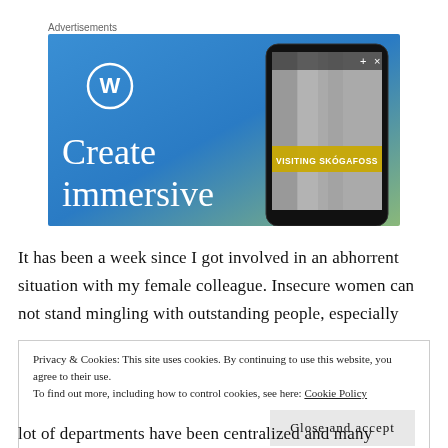Advertisements
[Figure (photo): WordPress advertisement banner showing 'Create immersive' text on a blue-green gradient background with a smartphone displaying 'VISITING SKÓGAFOSS']
It has been a week since I got involved in an abhorrent situation with my female colleague. Insecure women can not stand mingling with outstanding people, especially
Privacy & Cookies: This site uses cookies. By continuing to use this website, you agree to their use.
To find out more, including how to control cookies, see here: Cookie Policy
Close and accept
lot of departments have been centralized and many